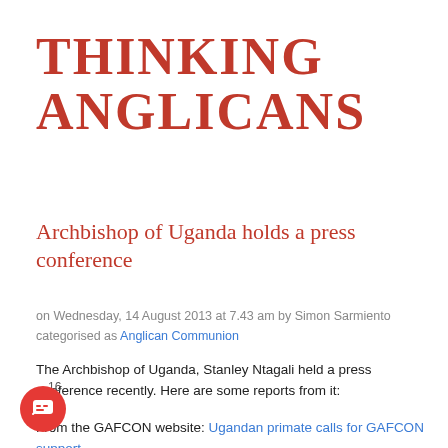THINKING ANGLICANS
Archbishop of Uganda holds a press conference
on Wednesday, 14 August 2013 at 7.43 am by Simon Sarmiento categorised as Anglican Communion
The Archbishop of Uganda, Stanley Ntagali held a press conference recently. Here are some reports from it:
From the GAFCON website: Ugandan primate calls for GAFCON support
The primate of the Church of Uganda, the Most Rev. Stanley Ntagali has likened GAFCON/FCA (Fellowship of Confessing